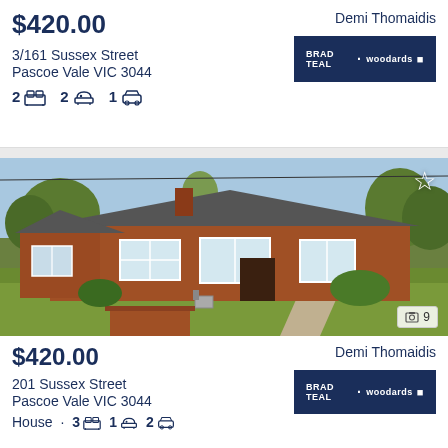$420.00
3/161 Sussex Street
Pascoe Vale VIC 3044
2 bed  2 bath  1 car
Demi Thomaidis
[Figure (logo): Brad Teal Woodards agency badge in dark navy blue]
[Figure (photo): Exterior photo of a brick bungalow house with tiled hip roof, white-framed bay windows, front garden with letterbox and concrete driveway path, star/favorite icon top right, photo counter showing 9 images]
$420.00
201 Sussex Street
Pascoe Vale VIC 3044
House  3 bed  1 bath  2 car
Demi Thomaidis
[Figure (logo): Brad Teal Woodards agency badge in dark navy blue]